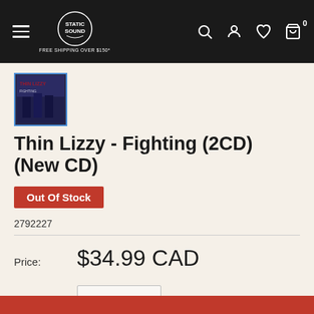Static Sound - FREE SHIPPING OVER $150*
[Figure (screenshot): Album thumbnail for Thin Lizzy - Fighting (2CD), showing band members in blue-toned photo]
Thin Lizzy - Fighting (2CD) (New CD)
Out Of Stock
2792227
Price: $34.99 CAD
Quantity: 1